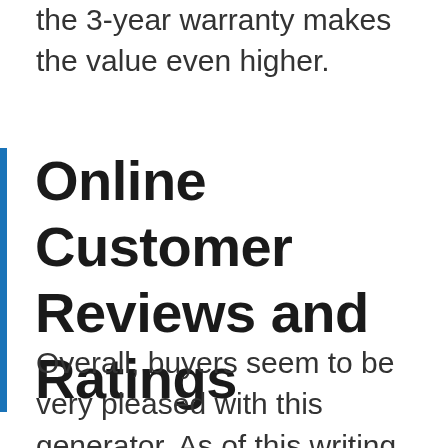the 3-year warranty makes the value even higher.
Online Customer Reviews and Ratings
Overall, buyers seem to be very pleased with this generator. As of this writing, it has earned a 4.3-star average on Amazon.